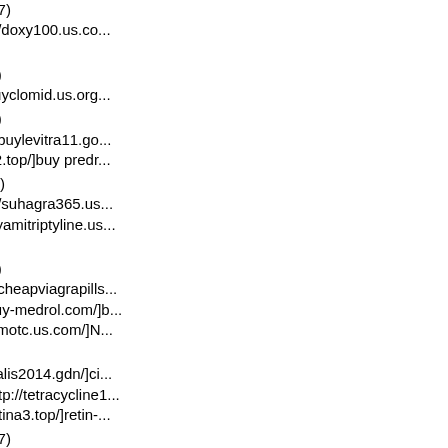EugeneKam (10. Juni 2017) wh0cd395523 [url=http://doxy100.us.co... anafranil[/url]
Kennethtal (10. Juni 2017) wh0cd926690 [url=http://buyclomid.us.org...
Kennethtal (10. Juni 2017) wh0cd26321 [url=http://buylevitra11.go... [url=http://buyprednisone12.top/]buy predr...
Bennyslent (10. Juni 2017) wh0cd394408 [url=http://suhagra365.us... suhagra[/url] [url=http://buyamitriptyline.us... Allopurinol[/url]
Kennethtal (10. Juni 2017) wh0cd243766 [url=http://cheapviagrapills... online[/url] [url=http://buy-medrol.com/]b... online[/url] [url=http://nexiumotc.us.com/]N...
Tracyalien (10. Juni 2017) wh0cd709262 [url=http://cialis2014.gdn/]ci... 2.gdn/]lipitor[/url] [url=http://tetracycline1... online[/url] [url=http://buyretina3.top/]retin-...
EugeneKam (10. Juni 2017) wh0cd830410 [url=http://amoxicillin24.us.c...
Bennyslent (10. Juni 2017) wh0cd503129 [url=http://buyviagrasoft20.t... [url=http://buyallopurinol2012.top/]buy [url=http://hydrochlorothiazide365.gdn/]hyd... without_prescription[/url] [url=http://buy...